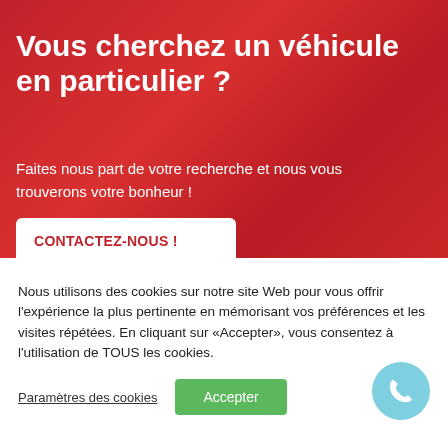Vous cherchez un véhicule en particulier ?
Faites nous part de votre recherche et nous vous trouverons votre bonheur !
CONTACTEZ-NOUS !
Nous utilisons des cookies sur notre site Web pour vous offrir l'expérience la plus pertinente en mémorisant vos préférences et les visites répétées. En cliquant sur «Accepter», vous consentez à l'utilisation de TOUS les cookies.
Paramètres des cookies
Accepter